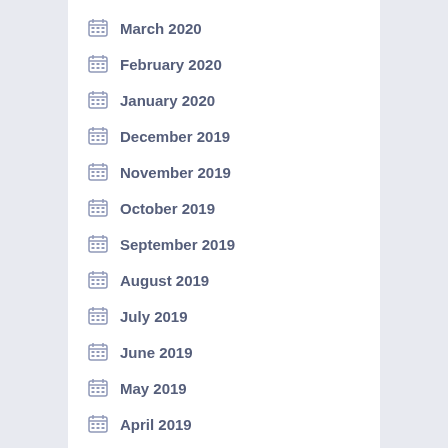March 2020
February 2020
January 2020
December 2019
November 2019
October 2019
September 2019
August 2019
July 2019
June 2019
May 2019
April 2019